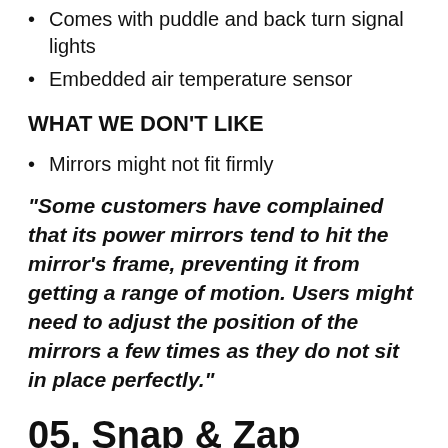Comes with puddle and back turn signal lights
Embedded air temperature sensor
WHAT WE DON'T LIKE
Mirrors might not fit firmly
“Some customers have complained that its power mirrors tend to hit the mirror’s frame, preventing it from getting a range of motion. Users might need to adjust the position of the mirrors a few times as they do not sit in place perfectly.”
05. Snap & Zap Custom Fit Towing Mirror set –